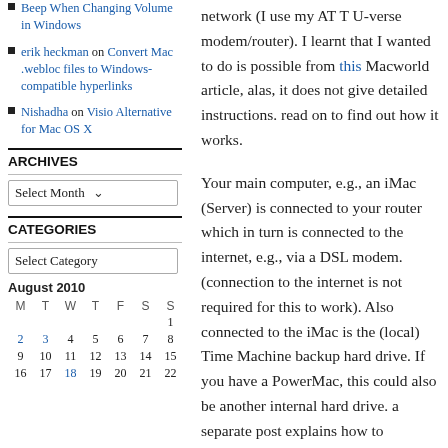Beep When Changing Volume in Windows
erik heckman on Convert Mac .webloc files to Windows-compatible hyperlinks
Nishadha on Visio Alternative for Mac OS X
ARCHIVES
Select Month
CATEGORIES
Select Category
August 2010
| M | T | W | T | F | S | S |
| --- | --- | --- | --- | --- | --- | --- |
|  |  |  |  |  |  | 1 |
| 2 | 3 | 4 | 5 | 6 | 7 | 8 |
| 9 | 10 | 11 | 12 | 13 | 14 | 15 |
| 16 | 17 | 18 | 19 | 20 | 21 | 22 |
network (I use my AT T U-verse modem/router). I learnt that I wanted to do is possible from this Macworld article, alas, it does not give detailed instructions. read on to find out how it works.
Your main computer, e.g., an iMac (Server) is connected to your router which in turn is connected to the internet, e.g., via a DSL modem. (connection to the internet is not required for this to work). Also connected to the iMac is the (local) Time Machine backup hard drive. If you have a PowerMac, this could also be another internal hard drive. a separate post explains how to duplicate your Time Machine backup to a remote backup hard drive. It can easily be connected to the first one via